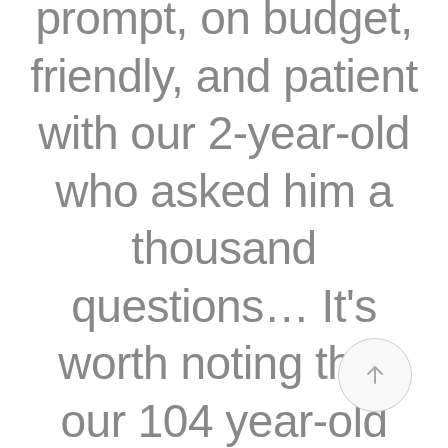prompt, on budget, friendly, and patient with our 2-year-old who asked him a thousand questions… It's worth noting that our 104 year-old house sports odd and interesting angles. Rick's 30+ years as a drywall craftsman
[Figure (other): Circular scroll-to-top button with upward arrow icon]